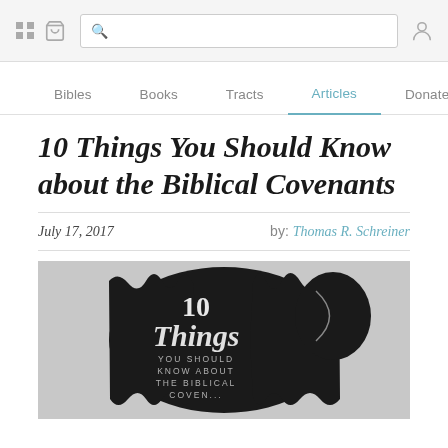Navigation bar with grid icon, cart icon, search box, and user icon
Bibles  Books  Tracts  Articles  Donate
10 Things You Should Know about the Biblical Covenants
July 17, 2017   by: Thomas R. Schreiner
[Figure (illustration): Book cover image showing '10 Things YOU SHOULD KNOW ABOUT THE BIBLICAL COVENANTS' in Gothic/blackletter style text on a dark scroll-like background with light grey surround.]